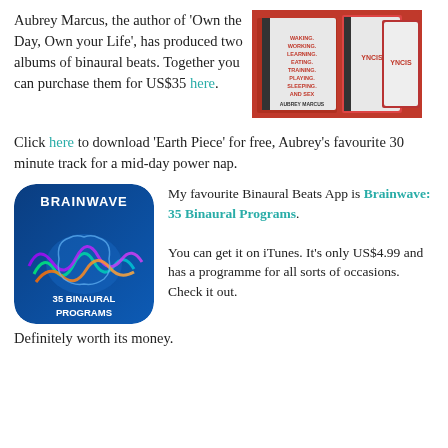Aubrey Marcus, the author of 'Own the Day, Own your Life', has produced two albums of binaural beats. Together you can purchase them for US$35 here.
[Figure (photo): Book covers for 'Own the Day, Own Your Life' by Aubrey Marcus, displayed on a red background]
Click here to download 'Earth Piece' for free, Aubrey's favourite 30 minute track for a mid-day power nap.
[Figure (screenshot): Brainwave 35 Binaural Programs app icon showing a colorful brain on a blue rounded-square background]
My favourite Binaural Beats App is Brainwave: 35 Binaural Programs. You can get it on iTunes. It's only US$4.99 and has a programme for all sorts of occasions. Check it out.
Definitely worth its money.